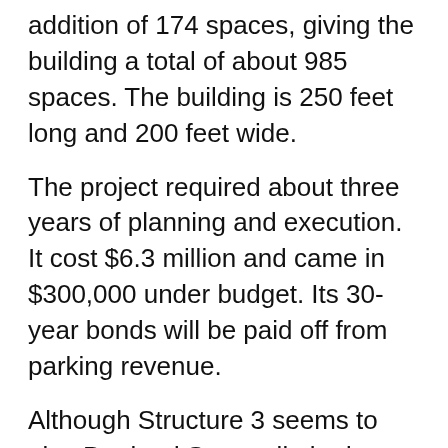addition of 174 spaces, giving the building a total of about 985 spaces. The building is 250 feet long and 200 feet wide.
The project required about three years of planning and execution. It cost $6.3 million and came in $300,000 under budget. Its 30-year bonds will be paid off from parking revenue.
Although Structure 3 seems to give Portland State a limited safety valve in terms of parking capacity, that cushion will not exist indefinitely, in the opinion of Mike Irish, facilities manager.
“We have to develop a parking strategy,” Irish said. With enrollment continuing to grow, he estimated that if all available parking were full, the present parking still would provide only